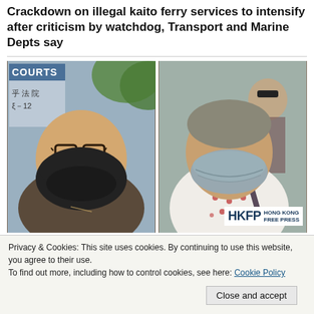Crackdown on illegal kaito ferry services to intensify after criticism by watchdog, Transport and Marine Depts say
[Figure (photo): Two photos side by side: left shows a man wearing glasses and a black face mask standing outside a court building with Chinese characters; right shows an elderly woman wearing a blue-grey face mask with a patterned blouse. HKFP Hong Kong Free Press watermark on the right photo.]
Preacher and elderly woman plead not guilty to sedition over
Privacy & Cookies: This site uses cookies. By continuing to use this website, you agree to their use.
To find out more, including how to control cookies, see here: Cookie Policy
Close and accept
[Figure (photo): Partial bottom photo, partially obscured by cookie banner.]